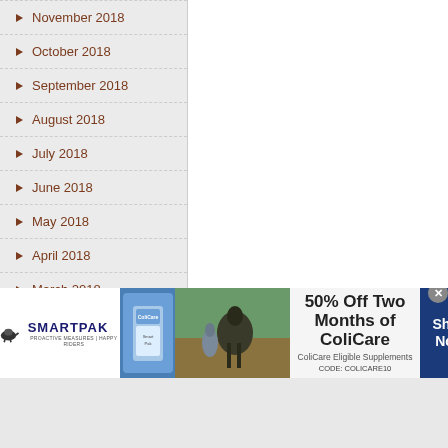November 2018
October 2018
September 2018
August 2018
July 2018
June 2018
May 2018
April 2018
March 2018
February 2018
January 2018
December 2017
[Figure (screenshot): SmartPak advertisement banner: 50% Off Two Months of ColiCare, ColiCare Eligible Supplements, CODE: COLICARE10, Shop Now button]